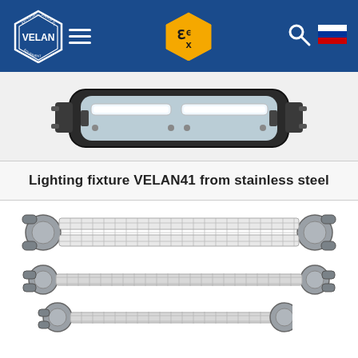VELAN — explosion-proof electrical equipment
[Figure (photo): Explosion-proof lighting fixture VELAN41 from stainless steel — top view, rectangular black housing with fluorescent tubes visible through clear cover, with mounting brackets on each end.]
Lighting fixture VELAN41 from stainless steel
[Figure (photo): Explosion-proof linear lighting fixture with protective wire guard cage, stainless steel, two fluorescent tubes, cylindrical end caps with conduit connections — top variant.]
[Figure (photo): Explosion-proof linear lighting fixture with protective wire guard cage, stainless steel, single fluorescent tube, cylindrical end caps with conduit connections — middle variant.]
[Figure (photo): Explosion-proof linear lighting fixture with protective wire guard cage, stainless steel, shorter single tube, cylindrical end caps — bottom partial variant.]